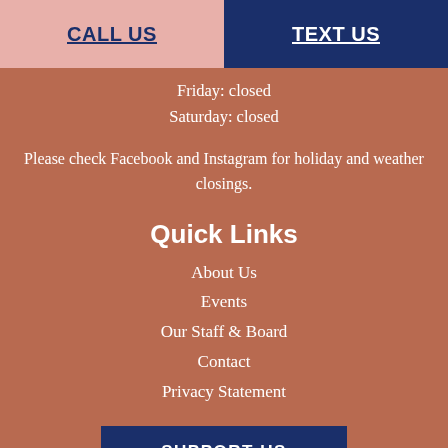CALL US
TEXT US
Friday: closed
Saturday: closed
Please check Facebook and Instagram for holiday and weather closings.
Quick Links
About Us
Events
Our Staff & Board
Contact
Privacy Statement
SUPPORT US
Copyright © 2022 Pregnancy Resources of Abilene . All rights reserved.